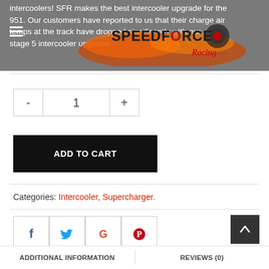intercoolers! SFR makes the best intercooler upgrade for the 951. Our customers have reported to us that their charge air temps at the track have dropped significantly with our stage 5 intercooler upgrade!
[Figure (logo): SpeedForce Racing logo with flames and turbo graphic]
- 1 + (quantity selector)
ADD TO CART
Categories: Intercooler, Supercharger.
[Figure (other): Social sharing icons: Facebook, Twitter, Google+, Pinterest]
ADDITIONAL INFORMATION   REVIEWS (0)